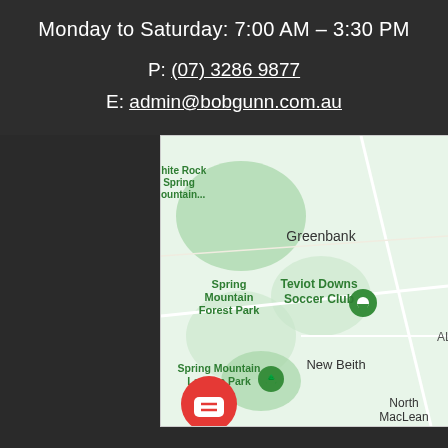Monday to Saturday: 7:00 AM – 3:30 PM
P: (07) 3286 9877
E: admin@bobgunn.com.au
[Figure (map): Google Maps screenshot showing Greenbank area with pin at Teviot Downs Soccer Club, Spring Mountain Forest Park, Spring Mountain Lagoon Park, New Beith, North MacLean, White Rock Spring Mountain labels]